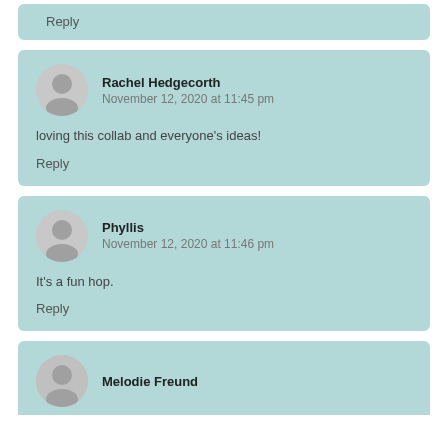Reply
Rachel Hedgecorth
November 12, 2020 at 11:45 pm
loving this collab and everyone's ideas!
Reply
Phyllis
November 12, 2020 at 11:46 pm
It's a fun hop.
Reply
Melodie Freund